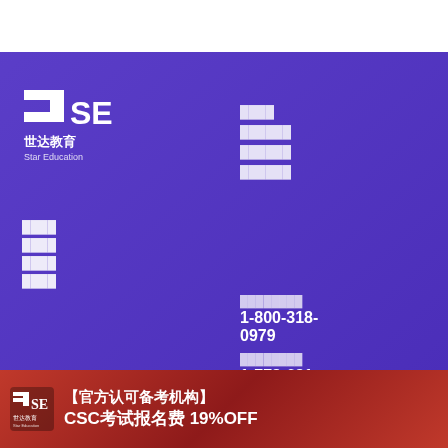[Figure (logo): 7SE 世达教育 Star Education logo in white on purple background]
████
████
████
████
████
████
████
████ ↗
████ ↗
████
████
██████
██████
██████
████████
1-800-318-0979
████████
1-778-681-9238
████
info@bestshida.com
【官方认可备考机构】CSC考试报名费 19%OFF